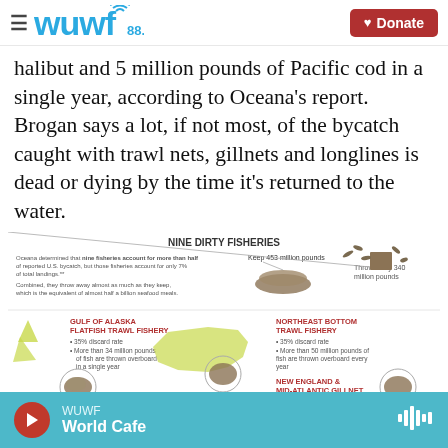WUWF 88.1 | Donate
halibut and 5 million pounds of Pacific cod in a single year, according to Oceana's report. Brogan says a lot, if not most, of the bycatch caught with trawl nets, gillnets and longlines is dead or dying by the time it's returned to the water.
[Figure (infographic): Nine Dirty Fisheries infographic. Oceana determined that nine fisheries account for more than half of reported U.S. bycatch, but those fisheries account for only 7% of total landings. Combined, they throw away almost as much as they keep, which is the equivalent of almost half a billion seafood meals. Keep 453 million pounds. Throw away 340 million pounds. Gulf of Alaska Flatfish Trawl Fishery: 35% discard rate, More than 34 million pounds of fish are thrown overboard in a single year. Northeast Bottom Trawl Fishery: 35% discard rate, More than 50 million pounds of fish are thrown overboard every year. New England & Mid-Atlantic Gillnet Fishery: 35% discard rate.]
WUWF | World Cafe